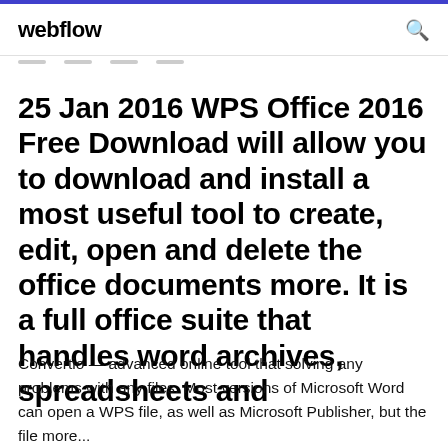webflow
25 Jan 2016 WPS Office 2016 Free Download will allow you to download and install a most useful tool to create, edit, open and delete the office documents more. It is a full office suite that handles word archives, spreadsheets and
Convertio — advanced online tool that solving any problems with any files. Most versions of Microsoft Word can open a WPS file, as well as Microsoft Publisher, but the file more...